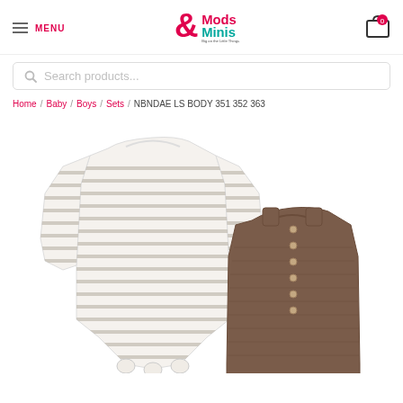MENU | Mods & Minis | Cart (0)
Search products...
Home / Baby / Boys / Sets / NBNDAE LS BODY 351 352 363
[Figure (photo): Two baby bodysuits: one long-sleeve white with grey horizontal stripes, one sleeveless brown/taupe ribbed with buttons.]